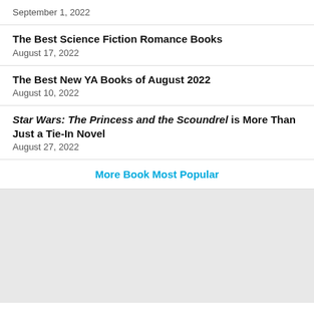September 1, 2022
The Best Science Fiction Romance Books
August 17, 2022
The Best New YA Books of August 2022
August 10, 2022
Star Wars: The Princess and the Scoundrel is More Than Just a Tie-In Novel
August 27, 2022
More Book Most Popular